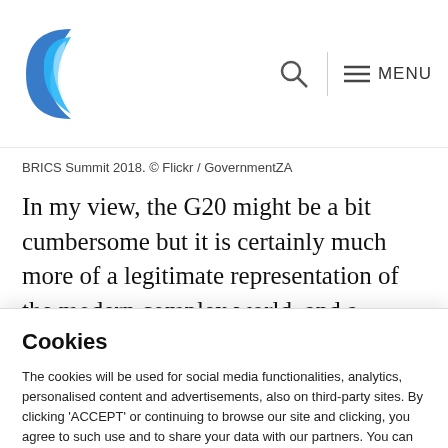BRICS Summit 2018 site logo, search icon, MENU
BRICS Summit 2018. © Flickr / GovernmentZA
In my view, the G20 might be a bit cumbersome but it is certainly much more of a legitimate representation of the modern complex world, and a
Cookies
The cookies will be used for social media functionalities, analytics, personalised content and advertisements, also on third-party sites. By clicking 'ACCEPT' or continuing to browse our site and clicking, you agree to such use and to share your data with our partners. You can obtain more information about our use of cookies, our partners and your consent via the 'Cookie settings'.
Cookie settings  Accept